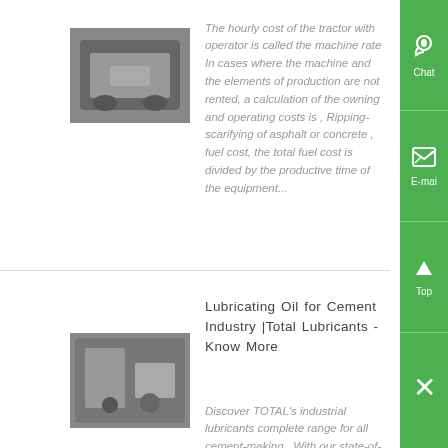[Figure (photo): Photo of industrial equipment, dark grey metal box/housing]
The hourly cost of the tractor with operator is called the machine rate In cases where the machine and the elements of production are not rented, a calculation of the owning and operating costs is , Ripping-scarifying of asphalt or concrete , fuel cost, the total fuel cost is divided by the productive time of the equipment...
Lubricating Oil for Cement Industry |Total Lubricants - Know More
[Figure (photo): Photo of industrial lubricant machinery or cement equipment]
Discover TOTAL's industrial lubricants complete range for all cement-making . With our state-of-